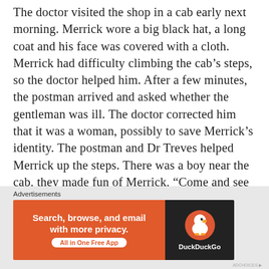The doctor visited the shop in a cab early next morning. Merrick wore a big black hat, a long coat and his face was covered with a cloth. Merrick had difficulty climbing the cab's steps, so the doctor helped him. After a few minutes, the postman arrived and asked whether the gentleman was ill. The doctor corrected him that it was a woman, possibly to save Merrick's identity. The postman and Dr Treves helped Merrick up the steps. There was a boy near the cab, they made fun of Merrick, “Come and see this, boys! A fat lady in a black coat! And look at that enormous hat!” the boy said. The boys laughed, the doctor quickly closed the door behind Merrick as soon as he entered the cab.
Advertisements
[Figure (other): DuckDuckGo advertisement banner: orange left side with text 'Search, browse, and email with more privacy. All in One Free App', black right side with DuckDuckGo duck logo and brand name.]